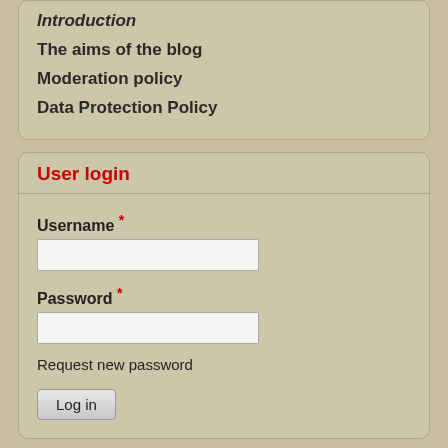Introduction
The aims of the blog
Moderation policy
Data Protection Policy
User login
Username *
Password *
Request new password
Log in
Posts of the day
Poorness as the highest stage of richness
Why is purity more than the inverse of getting impure?
What is a good decision?
Our personalized Heavens – and beyond...